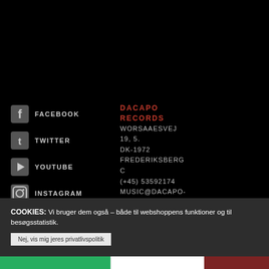FACEBOOK
TWITTER
YOUTUBE
INSTAGRAM
DACAPO
RECORDS
WORSAAESVEJ 19, 5.
DK-1972
FREDERIKSBERG C
(+45) 53592174
MUSIC@DACAPO-RECORDS.DK
CVR-NR. 13314179
DACAPO IS SUPPORTED BY
DANISH A
COOKIES: Vi bruger dem også – både til webshoppens funktioner og til besøgsstatistik.
Nej, vis mig jeres privatlivspolitik
OK
DECLINE
BUY
ALBUM
| Fiesta M
◀◀|